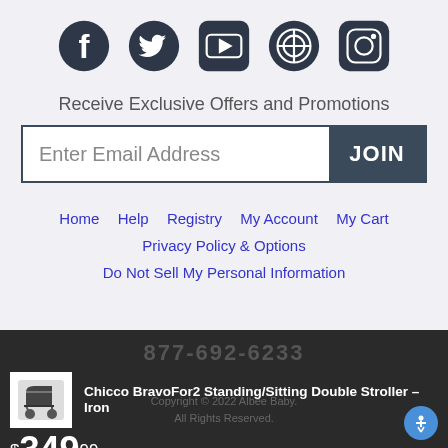[Figure (infographic): Social media icons: Facebook, Twitter, YouTube, Pinterest, Instagram]
Receive Exclusive Offers and Promotions
Enter Email Address | JOIN
Home  Help  Registry  My Account  My Cart  Privacy Policy & Options  Do Not Sell My Personal Information
877-692-6233
[Figure (photo): Chicco BravoFor2 stroller thumbnail image]
Chicco BravoFor2 Standing/Sitting Double Stroller – Iron
$349.99
Copyright © 2022 Albee Baby. All Rights Reserved.